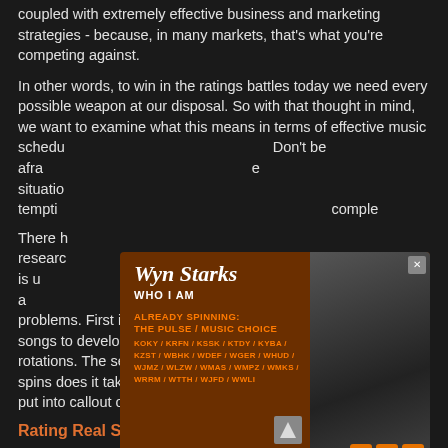coupled with extremely effective business and marketing strategies - because, in many markets, that's what you're competing against.
In other words, to win in the ratings battles today we need every possible weapon at our disposal. So with that thought in mind, we want to examine what this means in terms of effective music scheduling. Don't be afraid to look at your situation carefully – there's a temptation to try to completely...
[Figure (illustration): Advertisement for Wyn Starks 'Who I Am'. Dark brown/orange background. Left side shows artist name 'Wyn Starks' in large italic serif font, subtitle 'WHO I AM', then 'ALREADY SPINNING: THE PULSE / MUSIC CHOICE' in orange bold, followed by list of radio stations (KOKY/KRFN/KSSK/KTDY/KYBA/KZST/WBHK/WDEF/WGER/WHUD/WJMZ/WLZW/WMAS/WMPZ/WMKS/WRRM/WTTH/WJFD/WWLI) in orange. Right side shows black and white photo of a seated man. Close button top right, record label logo and video control buttons at bottom right.]
There have been a number of research studies... what we want to do is understand how research does a... problems. First is how little time many Urban stations give songs to develop as they continually adjust their music rotations. The second issue is really a question: How many spins does it take for a song to really become familiar enough to put into callout or to consider moving up in rotation?
Rating Real Spins